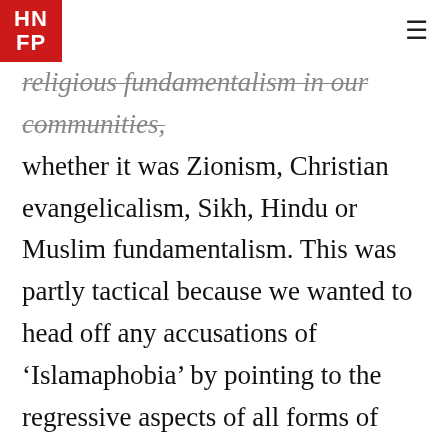HNFP
religious fundamentalism in our communities, whether it was Zionism, Christian evangelicalism, Sikh, Hindu or Muslim fundamentalism. This was partly tactical because we wanted to head off any accusations of ‘Islamaphobia’ by pointing to the regressive aspects of all forms of religious fundamentalism. This has become increasingly problematic since 9/11 when western states have launched a war on terror primarily focussed on Muslims.